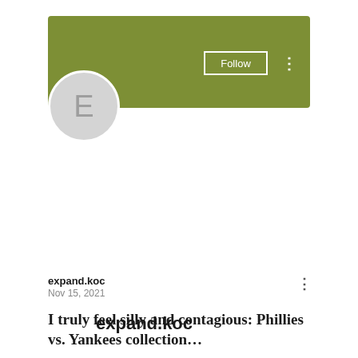[Figure (screenshot): Profile header banner with olive/green background color]
Follow
expand.koc
0 Followers • 0 Following
expand.koc
Nov 15, 2021
I truly feel silly and contagious: Phillies vs. Yankees collection…